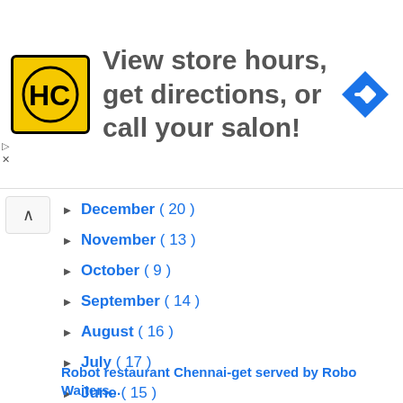[Figure (infographic): Advertisement banner for Haircut salon with HC logo, text 'View store hours, get directions, or call your salon!' and a blue navigation arrow icon]
December ( 20 )
November ( 13 )
October ( 9 )
September ( 14 )
August ( 16 )
July ( 17 )
June ( 15 )
May ( 16 )
April ( 15 )
March ( 18 )
February ( 12 )
January ( 10 )
Robot restaurant Chennai-get served by Robo Waiters...